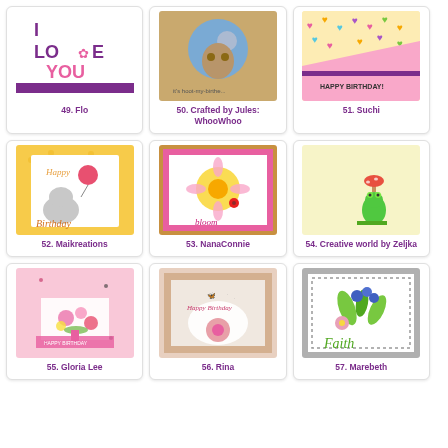[Figure (photo): Card with 'I LOVE YOU' text in purple and pink with butterfly, purple stripe at bottom]
49. Flo
[Figure (photo): Card with owl on moon branch, birthday greeting text below]
50. Crafted by Jules: WhooWhoo
[Figure (photo): Card with colorful hearts pattern and pink diagonal section, Happy Birthday text]
51. Suchi
[Figure (photo): Yellow polka dot card with elephant and balloon, Birthday text]
52. Maikreations
[Figure (photo): Pink card with sunflower and ladybug, 'bloom' text]
53. NanaConnie
[Figure (photo): Light yellow card with green frog holding mushroom]
54. Creative world by Zeljka
[Figure (photo): Pink card with floral bouquet and bow, birthday message]
55. Gloria Lee
[Figure (photo): Pink card with flower and Happy Birthday script text]
56. Rina
[Figure (photo): White card with painted flowers and 'Faith' script text]
57. Marebeth